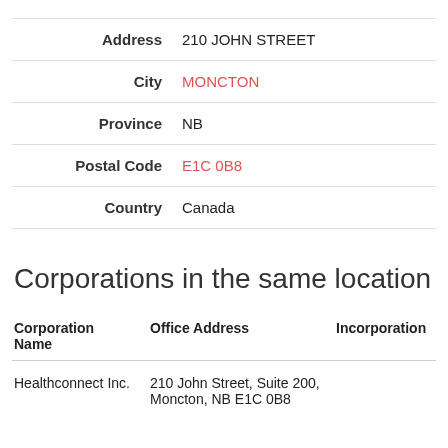| Label | Value |
| --- | --- |
| Address | 210 JOHN STREET |
| City | MONCTON |
| Province | NB |
| Postal Code | E1C 0B8 |
| Country | Canada |
Corporations in the same location
| Corporation Name | Office Address | Incorporation |
| --- | --- | --- |
| Healthconnect Inc. | 210 John Street, Suite 200, Moncton, NB E1C 0B8 |  |